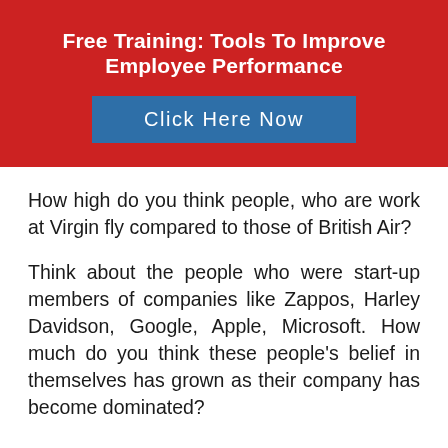Free Training: Tools To Improve Employee Performance
Click Here Now
How high do you think people, who are work at Virgin fly compared to those of British Air?
Think about the people who were start-up members of companies like Zappos, Harley Davidson, Google, Apple, Microsoft. How much do you think these people's belief in themselves has grown as their company has become dominated?